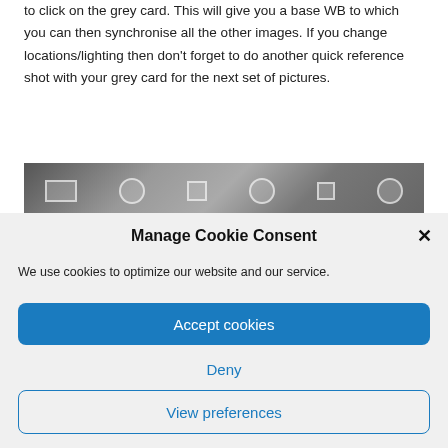to click on the grey card. This will give you a base WB to which you can then synchronise all the other images. If you change locations/lighting then don't forget to do another quick reference shot with your grey card for the next set of pictures.
[Figure (photo): A black and white horizontal photo strip showing camera-related shapes and targets including rectangles, circles, and squares on a textured background.]
Manage Cookie Consent
We use cookies to optimize our website and our service.
Accept cookies
Deny
View preferences